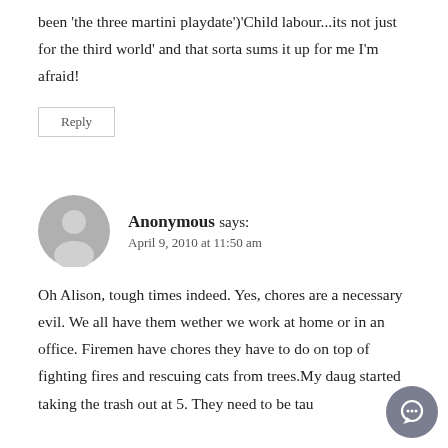been 'the three martini playdate')'Child labour...its not just for the third world' and that sorta sums it up for me I'm afraid!
Reply
Anonymous says: April 9, 2010 at 11:50 am
Oh Alison, tough times indeed. Yes, chores are a necessary evil. We all have them wether we work at home or in an office. Firemen have chores they have to do on top of fighting fires and rescuing cats from trees.My daug started taking the trash out at 5. They need to be tau